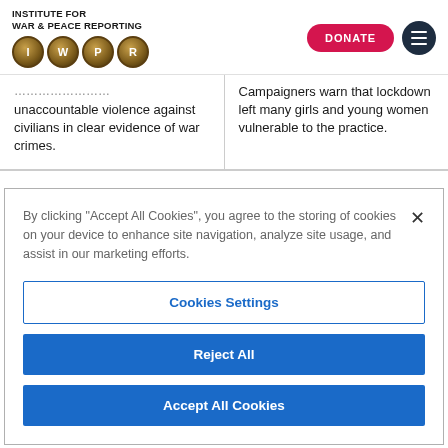[Figure (logo): Institute for War & Peace Reporting logo with IWPR circles and text]
...unaccountable violence against civilians in clear evidence of war crimes.
Campaigners warn that lockdown left many girls and young women vulnerable to the practice.
By clicking "Accept All Cookies", you agree to the storing of cookies on your device to enhance site navigation, analyze site usage, and assist in our marketing efforts.
Cookies Settings
Reject All
Accept All Cookies